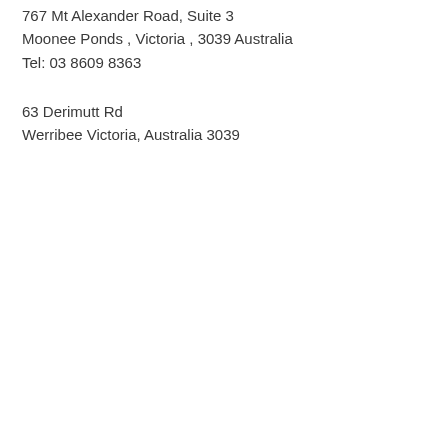767 Mt Alexander Road, Suite 3
Moonee Ponds , Victoria , 3039 Australia
Tel: 03 8609 8363
63 Derimutt Rd
Werribee Victoria, Australia 3039